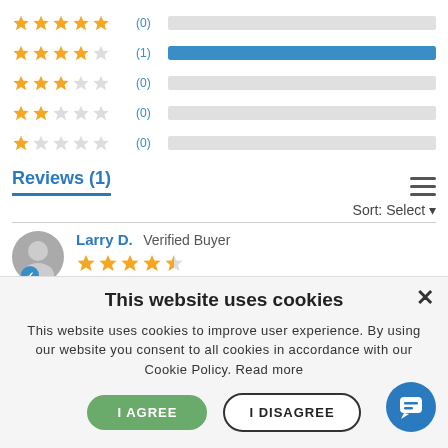[Figure (infographic): Star rating distribution bars. 5-star: (0) empty bar. 4-star: (1) full blue bar. 3-star: (0) empty bar. 2-star: (0) empty bar. 1-star: (0) empty bar.]
Reviews (1)
Sort: Select
Larry D. Verified Buyer
[Figure (infographic): 4.5 star rating shown as filled stars for the reviewer Larry D.]
This website uses cookies
This website uses cookies to improve user experience. By using our website you consent to all cookies in accordance with our Cookie Policy. Read more
I AGREE
I DISAGREE